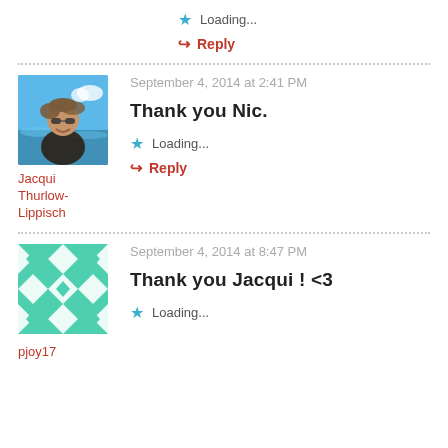Loading...
↪ Reply
September 4, 2014 at 2:41 PM
Thank you Nic.
Jacqui Thurlow-Lippisch
Loading...
↪ Reply
September 4, 2014 at 8:47 PM
Thank you Jacqui ! <3
pjoy17
Loading...